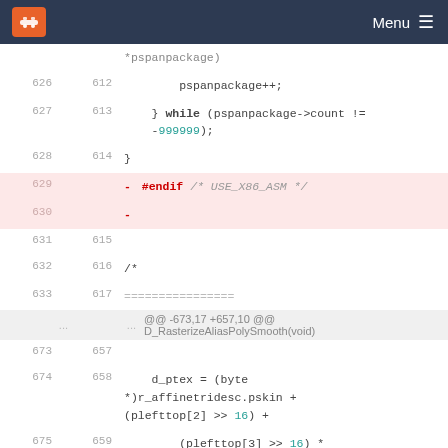Menu
[Figure (screenshot): Code diff view showing C source code lines 626-677 with deleted lines highlighted in pink/red. Lines 629, 630, 676, 677 are deleted (shown with minus sign and pink background). Includes navigation bar at top with logo and Menu button.]
*pspanpackage)
626  612      pspanpackage++;
627  613      } while (pspanpackage->count != -999999);
628  614  }
629  - #endif /* USE_X86_ASM */
630  -
631  615
632  616  /*
633  617  ================
...  ...  @@ -673,17 +657,10 @@ D_RasterizeAliasPolySmooth(void)
673  657
674  658      d_ptex = (byte *)r_affinetridesc.pskin + (plefttop[2] >> 16) +
675  659          (plefttop[3] >> 16) * r_affinetridesc.skinwidth;
676  - #ifdef USE_X86_ASM
677  - d_sfrac = (plefttop[2] & 0xFFFF)